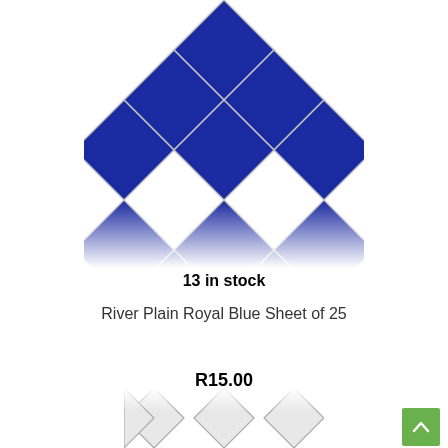[Figure (photo): Blue mosaic tiles arranged in a diamond/rotated square pattern with silver/white grout lines, cropped at the top]
13 in stock
River Plain Royal Blue Sheet of 25
R15.00
Add to cart
[Figure (photo): White/silver mosaic tiles arranged in a diamond pattern, partially visible at the bottom of the page]